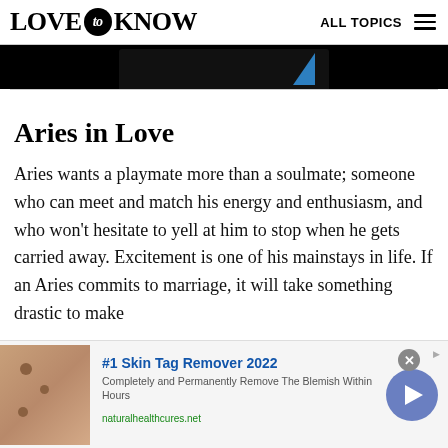LOVE to KNOW   ALL TOPICS
[Figure (screenshot): Partial dark advertisement banner with a blue geometric shape visible]
Aries in Love
Aries wants a playmate more than a soulmate; someone who can meet and match his energy and enthusiasm, and who won't hesitate to yell at him to stop when he gets carried away. Excitement is one of his mainstays in life. If an Aries commits to marriage, it will take something drastic to make
[Figure (screenshot): Bottom advertisement: #1 Skin Tag Remover 2022 — Completely and Permanently Remove The Blemish Within Hours — naturalhealthcures.net]